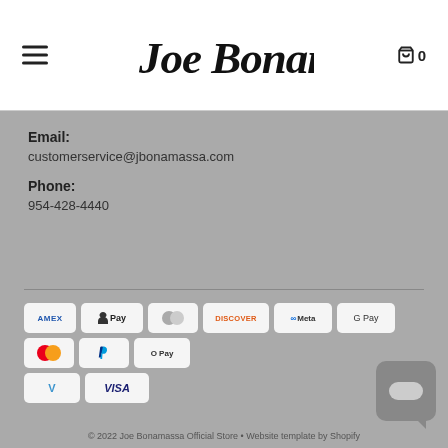Joe Bonamassa | Cart 0
Email:
customerservice@jbonamassa.com
Phone:
954-428-4440
[Figure (infographic): Payment method icons: American Express, Apple Pay, Diners Club, Discover, Meta Pay, Google Pay, Mastercard, PayPal, Shop Pay, Venmo, Visa]
© 2022 Joe Bonamassa Official Store • Website template by Shopify